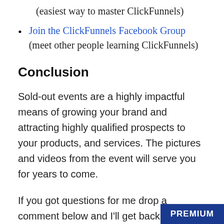(easiest way to master ClickFunnels)
Join the ClickFunnels Facebook Group (meet other people learning ClickFunnels)
Conclusion
Sold-out events are a highly impactful means of growing your brand and attracting highly qualified prospects to your products, and services. The pictures and videos from the event will serve you for years to come.
If you got questions for me drop a comment below and I'll get back to you. Go